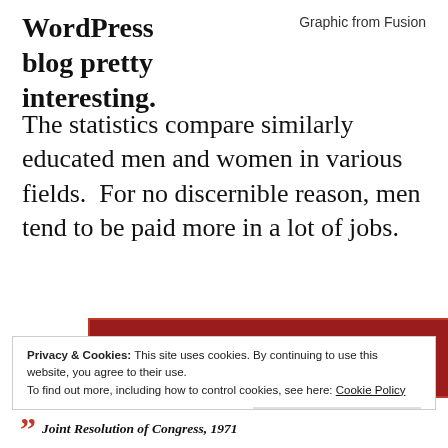WordPress
blog pretty
interesting.
Graphic from Fusion
The statistics compare similarly educated men and women in various fields.  For no discernible reason, men tend to be paid more in a lot of jobs.
[Figure (other): Red advertisement banner reading: The best stories on the web – ours, and everyone else's.]
REPORT THIS AD
Privacy & Cookies: This site uses cookies. By continuing to use this website, you agree to their use.
To find out more, including how to control cookies, see here: Cookie Policy
Close and accept
Joint Resolution of Congress, 1971